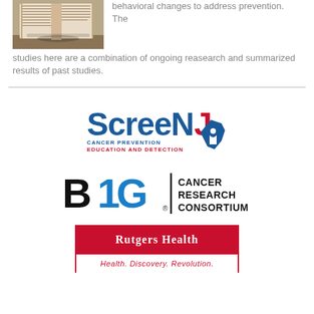[Figure (photo): Photo of open books on a table]
behavioral changes to address prevention. The studies here are a combination of ongoing reasearch and summarized results of past studies.
[Figure (logo): ScreeNJ Cancer Prevention Education and Detection logo]
[Figure (logo): B1G Cancer Research Consortium logo]
[Figure (logo): Rutgers Health - Health. Discovery. Revolution. logo]